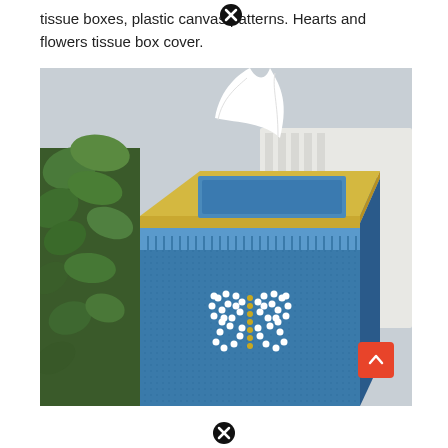tissue boxes, plastic canvas patterns. Hearts and flowers tissue box cover.
[Figure (photo): A decorative plastic canvas tissue box cover in blue with a white butterfly pattern made of beads, gold trim along the top edge, and blue fringe. A white tissue is poking out the top. Green ivy plant visible on the left side, white towels in the background.]
[Figure (other): Close button (X icon) overlay at top of image]
[Figure (other): Scroll-to-top button (orange/red square with up arrow) at bottom right]
[Figure (other): Close button (X icon) overlay at bottom of image]